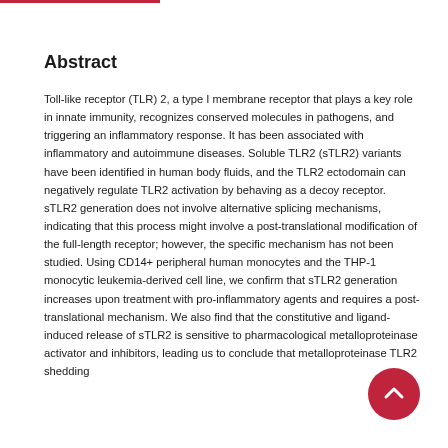Abstract
Toll-like receptor (TLR) 2, a type I membrane receptor that plays a key role in innate immunity, recognizes conserved molecules in pathogens, and triggering an inflammatory response. It has been associated with inflammatory and autoimmune diseases. Soluble TLR2 (sTLR2) variants have been identified in human body fluids, and the TLR2 ectodomain can negatively regulate TLR2 activation by behaving as a decoy receptor. sTLR2 generation does not involve alternative splicing mechanisms, indicating that this process might involve a post-translational modification of the full-length receptor; however, the specific mechanism has not been studied. Using CD14+ peripheral human monocytes and the THP-1 monocytic leukemia-derived cell line, we confirm that sTLR2 generation increases upon treatment with pro-inflammatory agents and requires a post-translational mechanism. We also find that the constitutive and ligand-induced release of sTLR2 is sensitive to pharmacological metalloproteinase activator and inhibitors, leading us to conclude that metalloproteinase TLR2 shedding